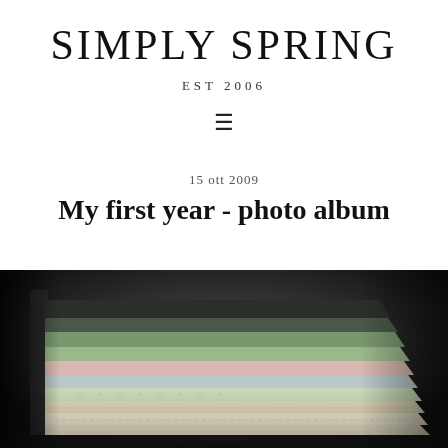SIMPLY SPRING
EST 2006
☰
15 ott 2009
My first year - photo album
[Figure (photo): Close-up photograph of an open photo album with colorful pastel pages (green, blue, pink, cream) fanned out, set against a dark background.]